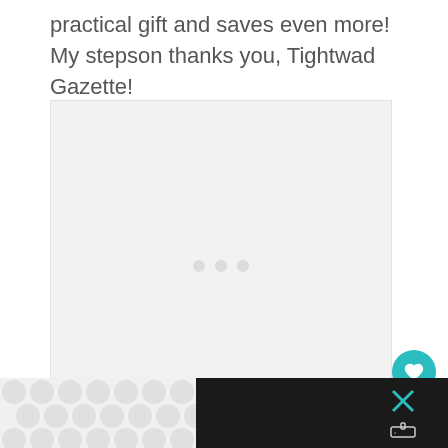practical gift and saves even more!  My stepson thanks you, Tightwad Gazette!
[Figure (other): Large light gray placeholder image area with faint loading dots in the center]
[Figure (other): Bottom bar with polka-dot pattern advertisement area on light gray background, close X button and thermometer icon on dark background]